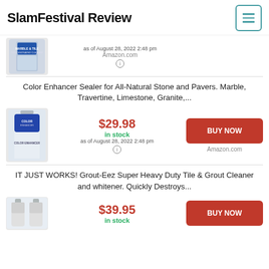SlamFestival Review
[Figure (photo): Partial product image - marble and tile cleaner bottle]
as of August 28, 2022 2:48 pm  Amazon.com
Color Enhancer Sealer for All-Natural Stone and Pavers. Marble, Travertine, Limestone, Granite,...
$29.98 in stock as of August 28, 2022 2:48 pm Amazon.com BUY NOW
IT JUST WORKS! Grout-Eez Super Heavy Duty Tile & Grout Cleaner and whitener. Quickly Destroys...
$39.95 in stock BUY NOW